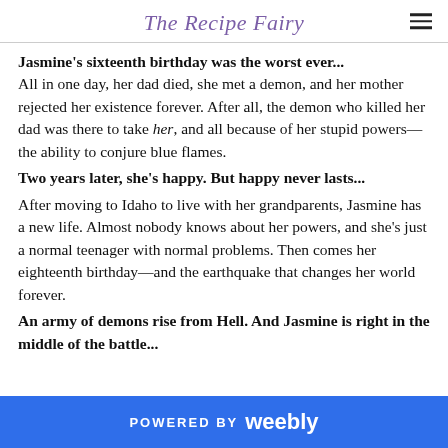The Recipe Fairy
Jasmine's sixteenth birthday was the worst ever... All in one day, her dad died, she met a demon, and her mother rejected her existence forever. After all, the demon who killed her dad was there to take her, and all because of her stupid powers—the ability to conjure blue flames.
Two years later, she's happy. But happy never lasts...
After moving to Idaho to live with her grandparents, Jasmine has a new life. Almost nobody knows about her powers, and she's just a normal teenager with normal problems. Then comes her eighteenth birthday—and the earthquake that changes her world forever.
An army of demons rise from Hell. And Jasmine is right in the middle of the battle...
POWERED BY weebly